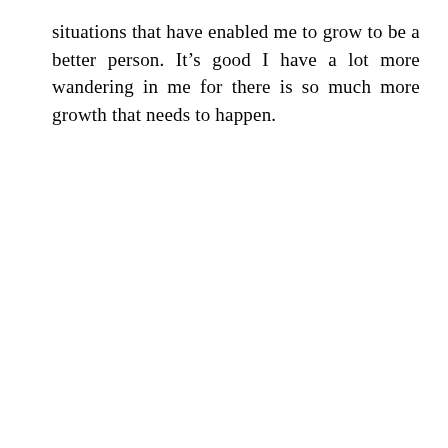situations that have enabled me to grow to be a better person. It’s good I have a lot more wandering in me for there is so much more growth that needs to happen.